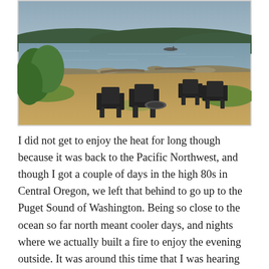[Figure (photo): Outdoor scene showing Adirondack chairs arranged on a dry grassy lawn sloping toward a rocky shoreline. A calm body of water (Puget Sound) is visible in the background with forested hills beyond. Green shrubs are on the left side of the image. Overcast sky.]
I did not get to enjoy the heat for long though because it was back to the Pacific Northwest, and though I got a couple of days in the high 80s in Central Oregon, we left that behind to go up to the Puget Sound of Washington. Being so close to the ocean so far north meant cooler days, and nights where we actually built a fire to enjoy the evening outside. It was around this time that I was hearing about the heat that the rest of the country was